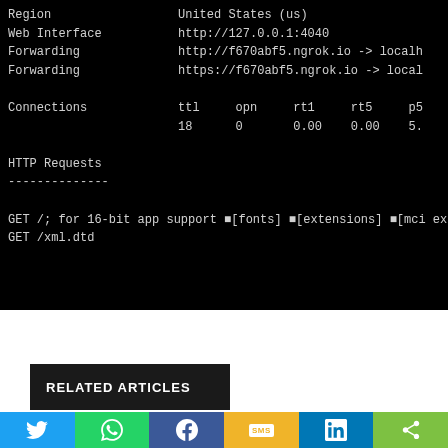[Figure (screenshot): Terminal/command prompt window showing ngrok output with Region, Web Interface, Forwarding URLs, Connections stats, HTTP Requests section, and GET request log entries on a black background]
RELATED ARTICLES
[Figure (infographic): Social sharing bar with Twitter (blue), WhatsApp (green), Facebook (dark blue), SMS (yellow), LinkedIn (light blue), and Share (green) buttons]